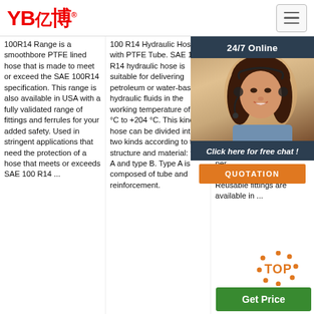[Figure (logo): YB亿博 logo in red with registered trademark symbol]
100R14 Range is a smoothbore PTFE lined hose that is made to meet or exceed the SAE 100R14 specification. This range is also available in USA with a fully validated range of fittings and ferrules for your added safety. Used in stringent applications that need the protection of a hose that meets or exceeds SAE 100 R14 ...
100 R14 Hydraulic Hose with PTFE Tube. SAE 100 R14 hydraulic hose is suitable for delivering petroleum or water-based hydraulic fluids in the working temperature of -54 °C to +204 °C. This kind of hose can be divided into two kinds according to the structure and material: type A and type B. Type A is composed of tube and reinforcement.
with SAE 100R14A PTFE Re... ste... fuel... fluid... che... acid... hos... the... per... req... per... attached crimp fittings. Reusable fittings are available in ...
[Figure (photo): 24/7 Online chat panel with photo of female customer service agent wearing headset, dark background overlay with 'Click here for free chat!' text and orange QUOTATION button]
[Figure (other): TOP button with orange dotted circle decoration]
Get Price